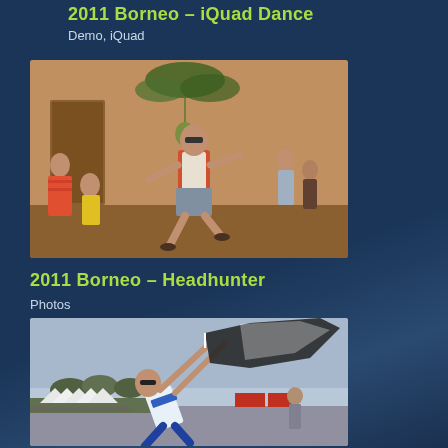2011 Borneo – iQuad Dance
Demo, iQuad
[Figure (photo): Person dancing indoors in a red patterned shirt and shorts with sunglasses, tropical decorations visible, others in background]
2011 Borneo – Headhunter
Photos
[Figure (photo): Person in white and blue outfit holding a large kite or flag on an airfield, white tents and crowds visible in background]